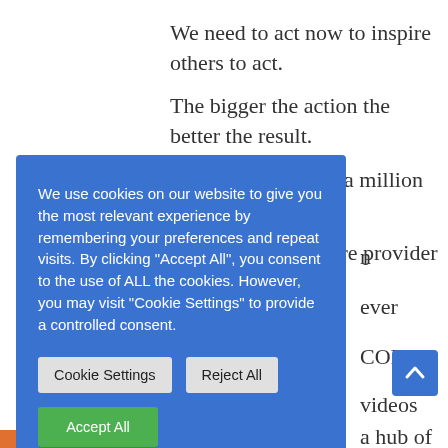We need to act now to inspire others to act.
The bigger the action the better the result.
Our aim is to reach a million kilometers. If you work for a healthcare provider you can help,
[Figure (screenshot): Cookie consent popup overlay on blue background with Cookie Settings, Reject All, and Accept All buttons]
ever
COP26.
videos
a hub of